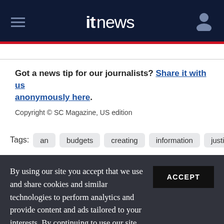itnews
Got a news tip for our journalists? Share it with us anonymously here.
Copyright © SC Magazine, US edition
Tags:  an  budgets  creating  information  justify  roi
By using our site you accept that we use and share cookies and similar technologies to perform analytics and provide content and ads tailored to your interests. By continuing to use our site, you consent to this. Please see our Cookie Policy for more information.